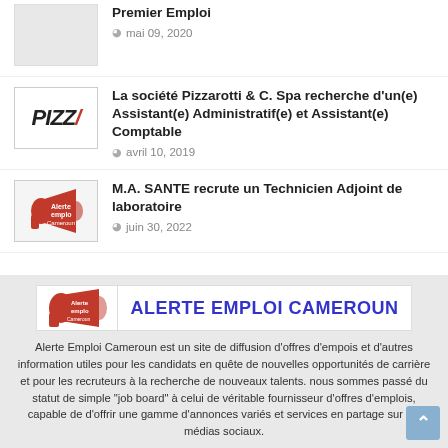Premier Emploi
mai 09, 2020
La société Pizzarotti & C. Spa recherche d'un(e) Assistant(e) Administratif(e) et Assistant(e) Comptable
avril 10, 2019
M.A. SANTE recrute un Technicien Adjoint de laboratoire
juin 30, 2022
[Figure (logo): Alerte Emploi Cameroun logo: megaphone icon with text ALERTE EMPLOI CAMEROUN]
Alerte Emploi Cameroun est un site de diffusion d'offres d'empois et d'autres information utiles pour les candidats en quête de nouvelles opportunités de carrière et pour les recruteurs à la recherche de nouveaux talents. nous sommes passé du statut de simple "job board" à celui de véritable fournisseur d'offres d'emplois, capable de d'offrir une gamme d'annonces variés et services en partage sur les médias sociaux.